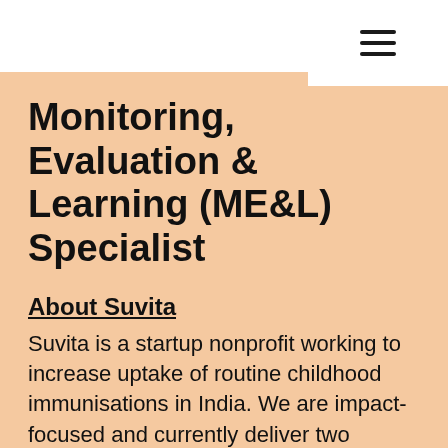≡
Monitoring, Evaluation & Learning (ME&L) Specialist
About Suvita
Suvita is a startup nonprofit working to increase uptake of routine childhood immunisations in India. We are impact-focused and currently deliver two evidence-based programmes to boost attendance at vaccination